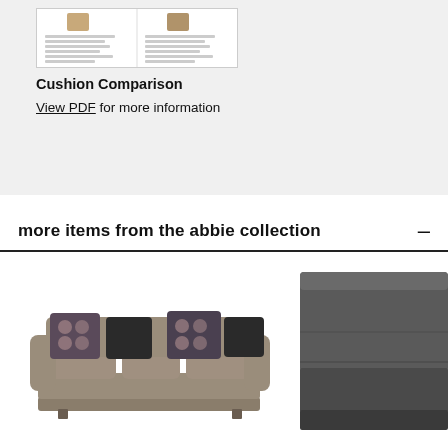[Figure (photo): Small thumbnail image showing a cushion comparison PDF document with two columns of text and small cushion icons]
Cushion Comparison
View PDF for more information
more items from the abbie collection
[Figure (photo): Photo of a three-seat sofa in taupe/grey fabric with decorative black and patterned throw pillows]
[Figure (photo): Close-up photo of an ottoman or chair in dark grey/charcoal fabric, showing corner detail]